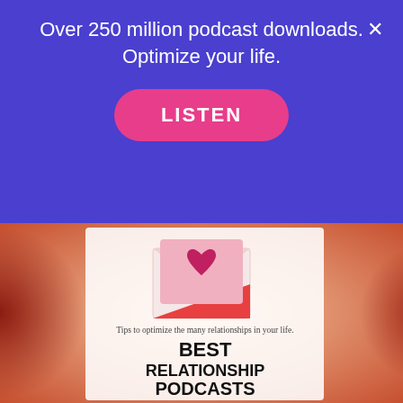Over 250 million podcast downloads. Optimize your life.
[Figure (other): Pink LISTEN button with rounded corners on purple banner]
[Figure (illustration): Book cover image: hands holding a heart shape with a love letter envelope icon, text 'Tips to optimize the many relationships in your life.' and bold title 'BEST RELATIONSHIP PODCASTS']